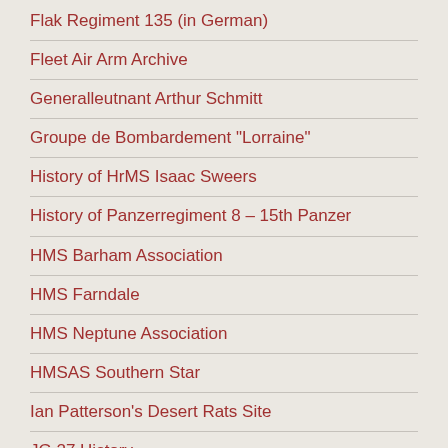Flak Regiment 135 (in German)
Fleet Air Arm Archive
Generalleutnant Arthur Schmitt
Groupe de Bombardement "Lorraine"
History of HrMS Isaac Sweers
History of Panzerregiment 8 – 15th Panzer
HMS Barham Association
HMS Farndale
HMS Neptune Association
HMSAS Southern Star
Ian Patterson's Desert Rats Site
JG 27 History
JG 27 Osprey Book Extract
King's Dragoon Guards in CRUSADER
Loss of HMAS Parramatta